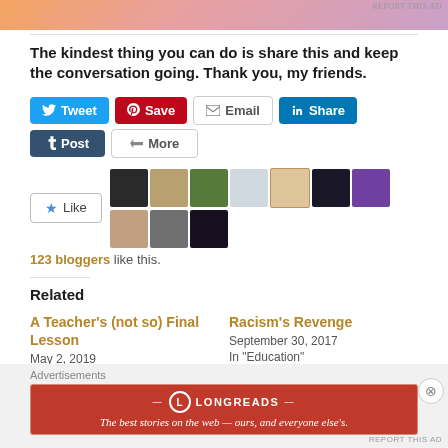[Figure (other): Advertisement banner with gradient pink/peach/purple tones at the top of the page]
The kindest thing you can do is share this and keep the conversation going. Thank you, my friends.
[Figure (other): Social share buttons: Tweet, Save, Email, Share, Post, More]
[Figure (other): Like button with star icon followed by avatar thumbnails of 10 bloggers]
123 bloggers like this.
Related
A Teacher's (not so) Final Lesson
May 2, 2019
With 4 comments
Racism's Revenge
September 30, 2017
In "Education"
Advertisements
[Figure (other): Longreads advertisement banner: red background with Longreads logo and tagline 'The best stories on the web — ours, and everyone else's.']